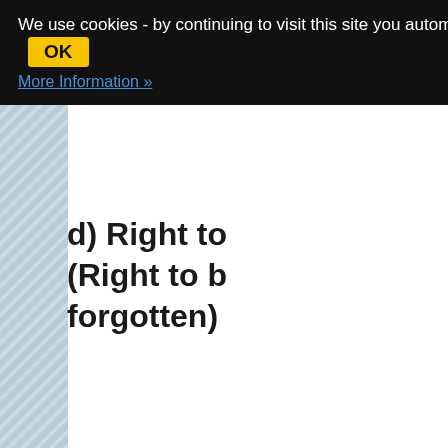We use cookies - by continuing to visit this site you automatic agree to our use of cookies. OK
More Information »
d) Right to (Right to be forgotten)
Each data subject shall be granted by the European legislator to obtain from the controller erasure of personal data concerning him or her without undue delay, and the controller shall have the obligation to erase personal data without undue delay where one of the following grounds applies, as long as the processing is not necessary:
The personal data are no longer necessary in relation to the purposes for which they were collected or otherwise processed.
The data sub...